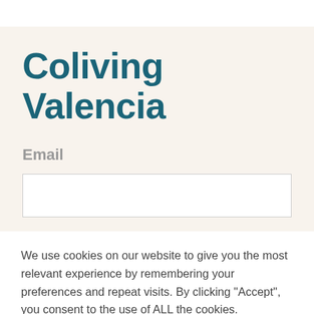Coliving Valencia
Email
We use cookies on our website to give you the most relevant experience by remembering your preferences and repeat visits. By clicking “Accept”, you consent to the use of ALL the cookies.
Cookie settings
ACCEPT